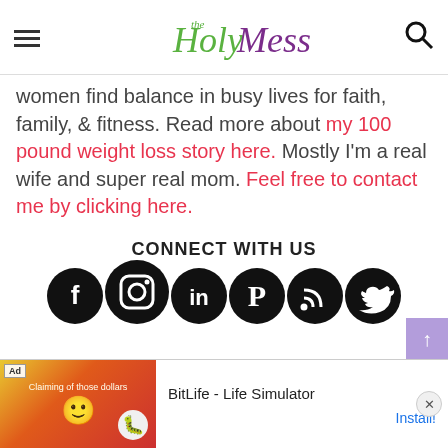the Holy Mess — navigation header with hamburger menu and search icon
women find balance in busy lives for faith, family, & fitness. Read more about my 100 pound weight loss story here. Mostly I'm a real wife and super real mom. Feel free to contact me by clicking here.
CONNECT WITH US
[Figure (illustration): Social media icons: Facebook, Instagram, LinkedIn, Pinterest, RSS, Twitter — black circular icons]
[Figure (screenshot): Ad banner: BitLife - Life Simulator with Install button]